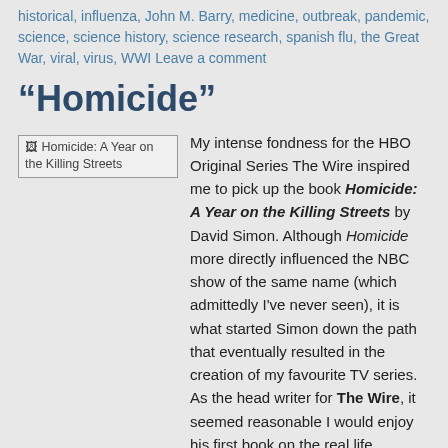historical, influenza, John M. Barry, medicine, outbreak, pandemic, science, science history, science research, spanish flu, the Great War, viral, virus, WWI Leave a comment
“Homicide”
[Figure (photo): Broken image placeholder for book cover: Homicide: A Year on the Killing Streets]
My intense fondness for the HBO Original Series The Wire inspired me to pick up the book Homicide: A Year on the Killing Streets by David Simon. Although Homicide more directly influenced the NBC show of the same name (which admittedly I’ve never seen), it is what started Simon down the path that eventually resulted in the creation of my favourite TV series. As the head writer for The Wire, it seemed reasonable I would enjoy his first book on the real life Baltimore homicide detectives.
Unlike most other ‘true crime’ type books, Homicide does not follow